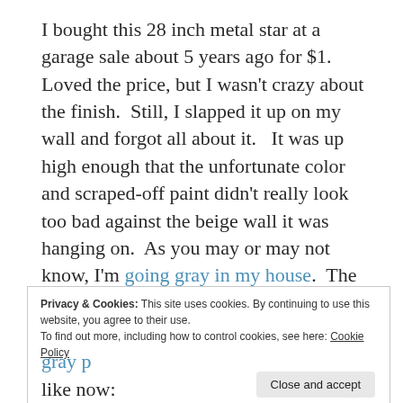I bought this 28 inch metal star at a garage sale about 5 years ago for $1. Loved the price, but I wasn't crazy about the finish. Still, I slapped it up on my wall and forgot all about it. It was up high enough that the unfortunate color and scraped-off paint didn't really look too bad against the beige wall it was hanging on. As you may or may not know, I'm going gray in my house. The metal star came down so the gray paint could go up.
Privacy & Cookies: This site uses cookies. By continuing to use this website, you agree to their use. To find out more, including how to control cookies, see here: Cookie Policy
Close and accept
gray p… like now: